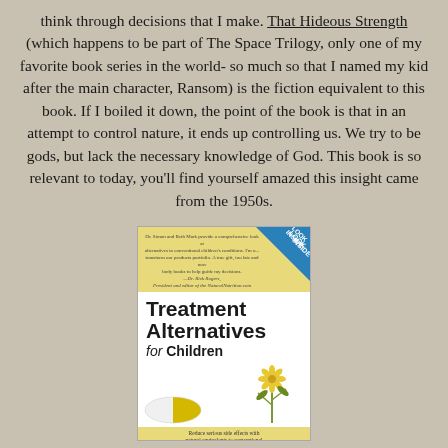think through decisions that I make. That Hideous Strength (which happens to be part of The Space Trilogy, only one of my favorite book series in the world- so much so that I named my kid after the main character, Ransom) is the fiction equivalent to this book. If I boiled it down, the point of the book is that in an attempt to control nature, it ends up controlling us. We try to be gods, but lack the necessary knowledge of God. This book is so relevant to today, you'll find yourself amazed this insight came from the 1950s.
[Figure (photo): Book cover of 'Treatment Alternatives for Children' showing yellow banner at top with endorsement quote, blue 'Look Inside' badge in top right corner, white section with bold title text, an illustration of a yellow/white capsule pill and a yellow flower plant, and yellow bottom banner with text 'Reduce serious side effects with natural equivalents to conventional remedies for common childhood ailments']